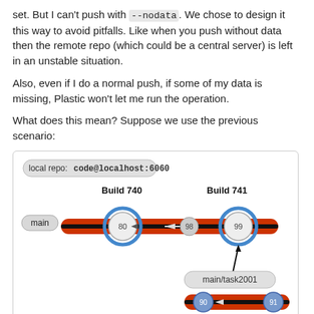set. But I can't push with --nodata. We chose to design it this way to avoid pitfalls. Like when you push without data then the remote repo (which could be a central server) is left in an unstable situation.
Also, even if I do a normal push, if some of my data is missing, Plastic won't let me run the operation.
What does this mean? Suppose we use the previous scenario:
[Figure (illustration): Diagram showing a local repo at code@localhost:6060 with two branches. Main branch shows Build 740 (changesets 80, 98 with arrow) and Build 741 (changeset 99 with blue circle highlight). A second branch main/task2001 shows changesets 90 and 91 connected with arrow. An arrow points from the main/task2001 label to changeset 99.]